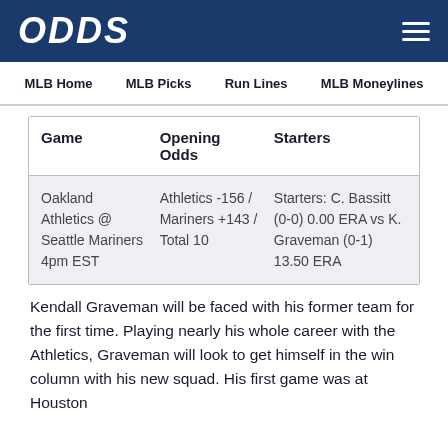ODDS
MLB Home   MLB Picks   Run Lines   MLB Moneylines
| Game | Opening Odds | Starters |
| --- | --- | --- |
| Oakland Athletics @ Seattle Mariners 4pm EST | Athletics -156 / Mariners +143 / Total 10 | Starters: C. Bassitt (0-0) 0.00 ERA vs K. Graveman (0-1) 13.50 ERA |
Kendall Graveman will be faced with his former team for the first time. Playing nearly his whole career with the Athletics, Graveman will look to get himself in the win column with his new squad. His first game was at Houston